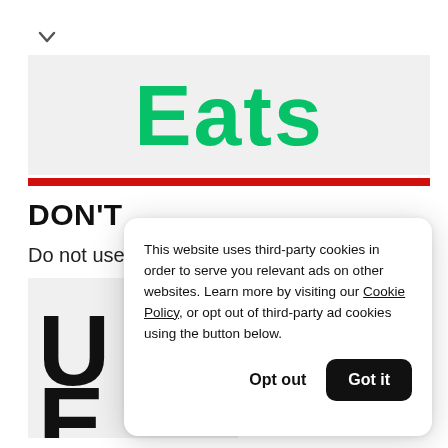[Figure (logo): Uber Eats logo text 'Eats' in large green bold font on a light gray background banner]
DON'T
Do not use o...
[Figure (illustration): Gray box with large black letters 'U' and 'E' cropped, representing a don't example of logo usage]
This website uses third-party cookies in order to serve you relevant ads on other websites. Learn more by visiting our Cookie Policy, or opt out of third-party ad cookies using the button below.
Opt out
Got it